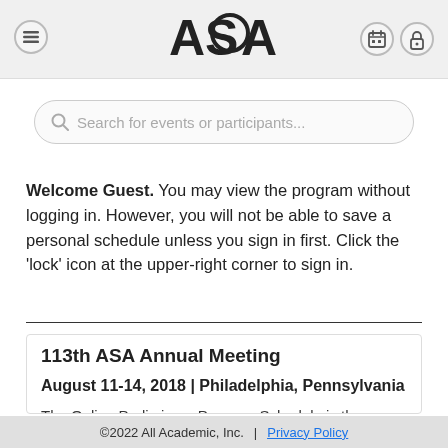ASA [logo with menu icon, calendar icon, lock icon]
[Figure (logo): ASA logo — bold black letters A, S, A with a circular swirl graphic on the S, centered in the header bar]
Search for events or participants...
Welcome Guest. You may view the program without logging in. However, you will not be able to save a personal schedule unless you sign in first. Click the 'lock' icon at the upper-right corner to sign in.
113th ASA Annual Meeting
August 11-14, 2018 | Philadelphia, Pennsylvania
The Online Preliminary Program Schedule is the
©2022 All Academic, Inc.  |  Privacy Policy